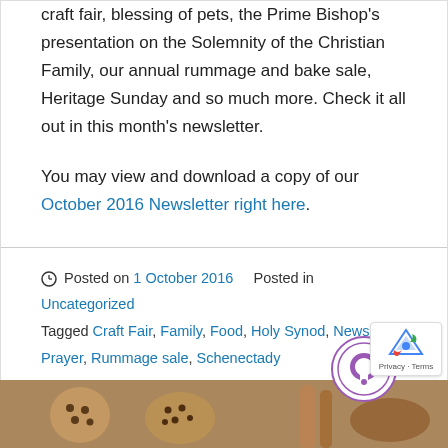craft fair, blessing of pets, the Prime Bishop's presentation on the Solemnity of the Christian Family, our annual rummage and bake sale, Heritage Sunday and so much more. Check it all out in this month's newsletter.
You may view and download a copy of our October 2016 Newsletter right here.
Posted on 1 October 2016   Posted in Uncategorized  Tagged Craft Fair, Family, Food, Holy Synod, Newsletter, Prayer, Rummage sale, Schenectady
[Figure (photo): Bottom portion showing baked goods/cookies on a wooden surface]